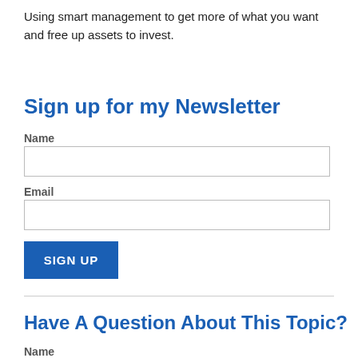Using smart management to get more of what you want and free up assets to invest.
Sign up for my Newsletter
Name
Email
SIGN UP
Have A Question About This Topic?
Name